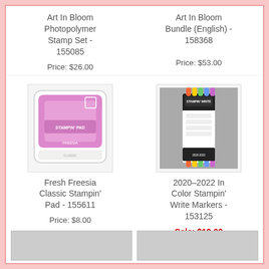Art In Bloom Photopolymer Stamp Set - 155085
Price: $26.00
Art In Bloom Bundle (English) - 158368
Price: $53.00
[Figure (photo): Fresh Freesia Classic Stampin' Pad - pink ink pad in white square container]
Fresh Freesia Classic Stampin' Pad - 155611
Price: $8.00
[Figure (photo): 2020-2022 In Color Stampin' Write Markers set with colorful markers in a black and white packaging]
2020–2022 In Color Stampin' Write Markers - 153125
Sale: $12.00
Price: $15.00